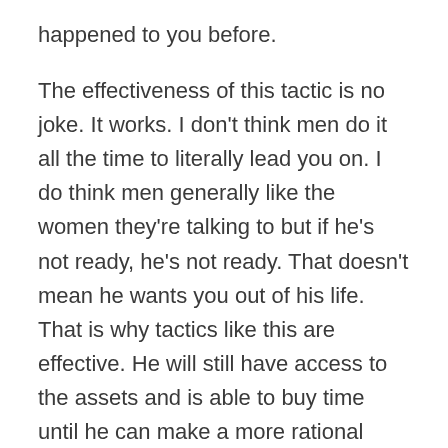happened to you before.
The effectiveness of this tactic is no joke. It works. I don't think men do it all the time to literally lead you on. I do think men generally like the women they're talking to but if he's not ready, he's not ready. That doesn't mean he wants you out of his life. That is why tactics like this are effective. He will still have access to the assets and is able to buy time until he can make a more rational decision….
The problem is, why does he have to make the decision? If he's buying time, it's working, you're